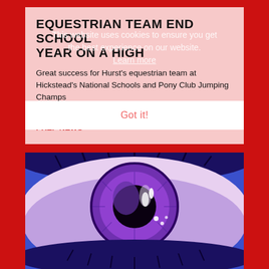EQUESTRIAN TEAM END SCHOOL YEAR ON A HIGH
This website uses cookies to ensure you get the best experience on our website.
Learn more
Great success for Hurst's equestrian team at Hickstead's National Schools and Pony Club Jumping Champs
Got it!
10 JULY 2022
PREP NEWS
[Figure (illustration): Close-up illustration of a stylized eye with a purple iris, black pupil with light reflections, dark lashes and brows, on a blue background. Comic/pop-art style.]